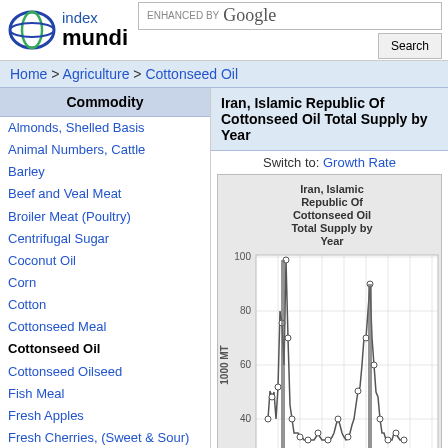index mundi [logo] ENHANCED BY Google [Search button]
Home > Agriculture > Cottonseed Oil
Commodity
Almonds, Shelled Basis
Animal Numbers, Cattle
Barley
Beef and Veal Meat
Broiler Meat (Poultry)
Centrifugal Sugar
Coconut Oil
Corn
Cotton
Cottonseed Meal
Cottonseed Oil
Cottonseed Oilseed
Fish Meal
Fresh Apples
Fresh Cherries, (Sweet & Sour)
Fresh Oranges
Fresh Pears
Green Coffee
Milled Rice
Iran, Islamic Republic Of Cottonseed Oil Total Supply by Year
Switch to: Growth Rate
[Figure (line-chart): Line chart showing Iran cottonseed oil total supply by year, with values ranging from about 10 to 100 on the y-axis (1000 MT). The chart shows a spike near the beginning reaching close to 100, then lower values around 20-30, with another spike reaching about 70 in a later period.]